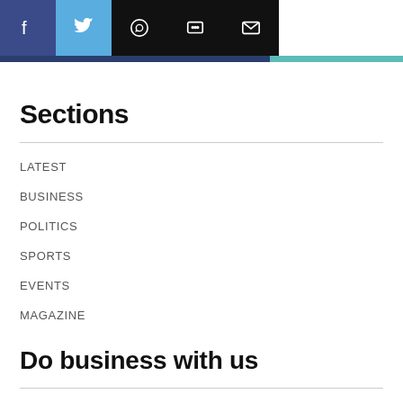[Figure (other): Social sharing button bar with Facebook (dark blue), Twitter (light blue), WhatsApp, messaging, and email icons on black background]
Sections
LATEST
BUSINESS
POLITICS
SPORTS
EVENTS
MAGAZINE
Do business with us
MEET THE TEAM